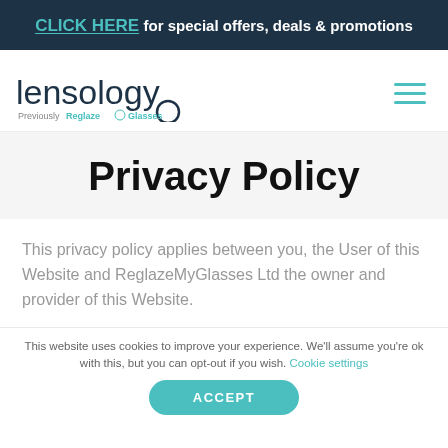CLICK HERE for special offers, deals & promotions
[Figure (logo): Lensology logo with text 'Previously Reglaze My Glasses' and circle detail, with hamburger menu icon]
Privacy Policy
This privacy policy applies between you, the User of this Website and ReglazeMyGlasses Ltd the owner and provider of this Website.
This website uses cookies to improve your experience. We'll assume you're ok with this, but you can opt-out if you wish. Cookie settings ACCEPT